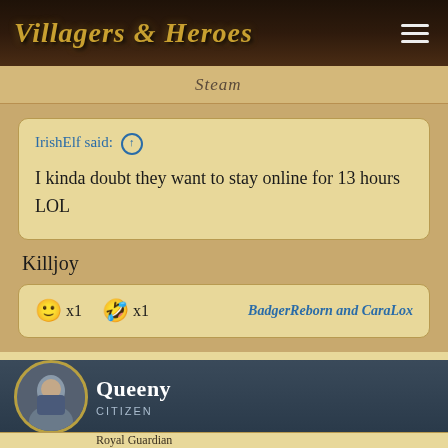Villagers & Heroes
Steam
IrishElf said: ↑
I kinda doubt they want to stay online for 13 hours LOL
Killjoy
🙂 x1   🤣 x1   BadgerReborn and CaraLox
Queeny
CITIZEN
Royal Guardian